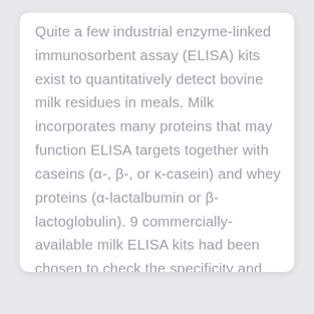Quite a few industrial enzyme-linked immunosorbent assay (ELISA) kits exist to quantitatively detect bovine milk residues in meals. Milk incorporates many proteins that may function ELISA targets together with caseins (α-, β-, or κ-casein) and whey proteins (α-lactalbumin or β-lactoglobulin). 9 commercially-available milk ELISA kits had been chosen to check the specificity and [...]